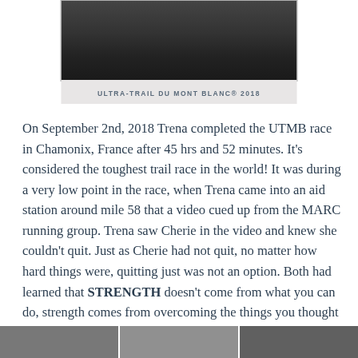[Figure (photo): Partial photo of a person at the top of the page, showing the lower portion of a dark-clothed figure]
ULTRA-TRAIL DU MONT BLANC® 2018
On September 2nd, 2018 Trena completed the UTMB race in Chamonix, France after 45 hrs and 52 minutes. It's considered the toughest trail race in the world! It was during a very low point in the race, when Trena came into an aid station around mile 58 that a video cued up from the MARC running group. Trena saw Cherie in the video and knew she couldn't quit. Just as Cherie had not quit, no matter how hard things were, quitting just was not an option. Both had learned that STRENGTH doesn't come from what you can do, strength comes from overcoming the things you thought you couldn't!
[Figure (photo): Three photos at the bottom of the page, partially visible]